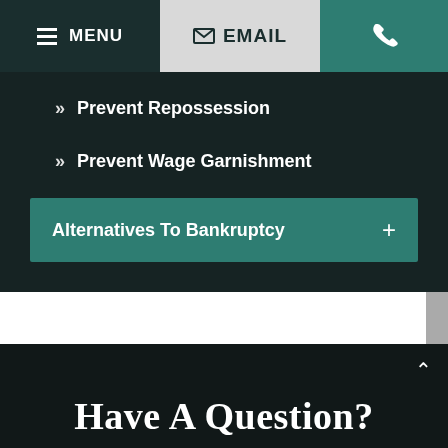MENU | EMAIL | (phone)
Prevent Repossession
Prevent Wage Garnishment
Alternatives To Bankruptcy
Have A Question?